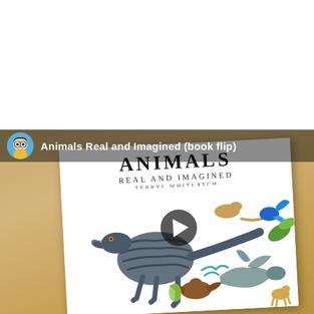[Figure (screenshot): A YouTube-style video thumbnail showing a book flip video. The video features the book 'Animals Real and Imagined' by Terryl Whitlatch. The thumbnail shows the book cover with illustrations of dinosaurs and fantasy creatures on a wooden table background. A play button overlay is visible in the center. A channel avatar (cartoon boy character) and channel name 'Animals Real and Imagined (book flip)' appear in a dark bar at the top of the video.]